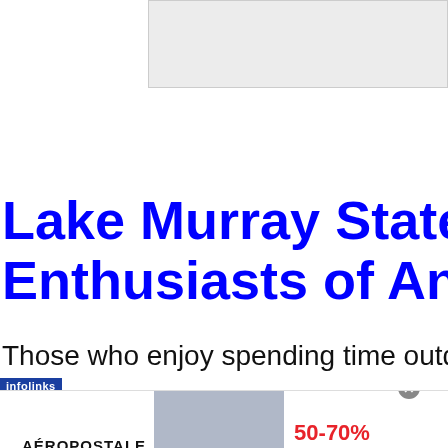[Figure (other): Gray placeholder rectangle for an advertisement or image, top-right area of page]
Lake Murray State Park Enthusiasts of Any Age
Those who enjoy spending time outdoo
[Figure (screenshot): Aéropostale advertisement banner with two models, text '50-70% off Everything!' in red, and a 'BUY NOW' button. Infolinks label visible.]